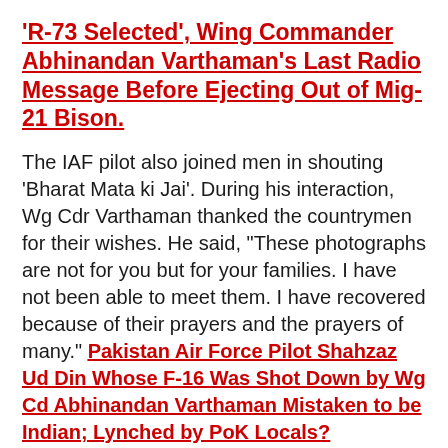'R-73 Selected', Wing Commander Abhinandan Varthaman's Last Radio Message Before Ejecting Out of Mig-21 Bison.
The IAF pilot also joined men in shouting 'Bharat Mata ki Jai'. During his interaction, Wg Cdr Varthaman thanked the countrymen for their wishes. He said, "These photographs are not for you but for your families. I have not been able to meet them. I have recovered because of their prayers and the prayers of many." Pakistan Air Force Pilot Shahzaz Ud Din Whose F-16 Was Shot Down by Wg Cd Abhinandan Varthaman Mistaken to be Indian; Lynched by PoK Locals?
Video if Wing Commander Abhinandan Varthaman: